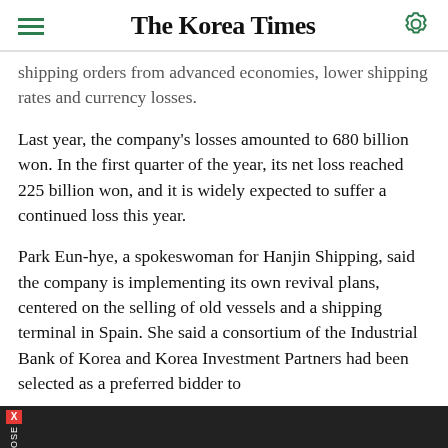The Korea Times
shipping orders from advanced economies, lower shipping rates and currency losses.
Last year, the company's losses amounted to 680 billion won. In the first quarter of the year, its net loss reached 225 billion won, and it is widely expected to suffer a continued loss this year.
Park Eun-hye, a spokeswoman for Hanjin Shipping, said the company is implementing its own revival plans, centered on the selling of old vessels and a shipping terminal in Spain. She said a consortium of the Industrial Bank of Korea and Korea Investment Partners had been selected as a preferred bidder to